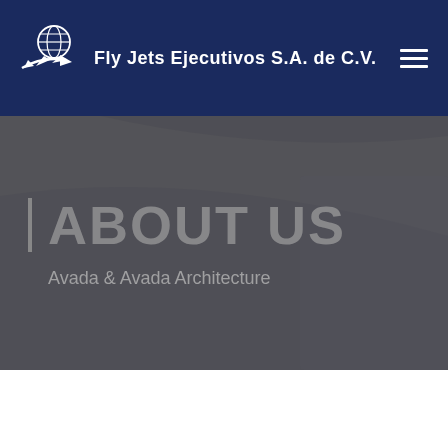[Figure (logo): Fly Jets Ejecutivos S.A. de C.V. logo with globe and airplane icon in white on dark navy background, with company name text]
ABOUT US
Avada & Avada Architecture